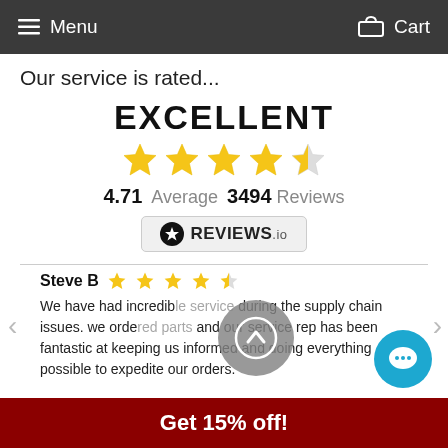Menu  Cart
Our service is rated...
EXCELLENT
[Figure (infographic): 5 yellow stars (4 full, 1 half) rating display. Rating: 4.71 Average, 3494 Reviews. REVIEWS.io badge.]
4.71 Average  3494 Reviews
Steve B — 4 stars. We have had incredible ... during the supply chain issues. we orde... and our service rep has been fantastic at keeping us informed and doing everything possible to expedite our orders.
Get 15% off!